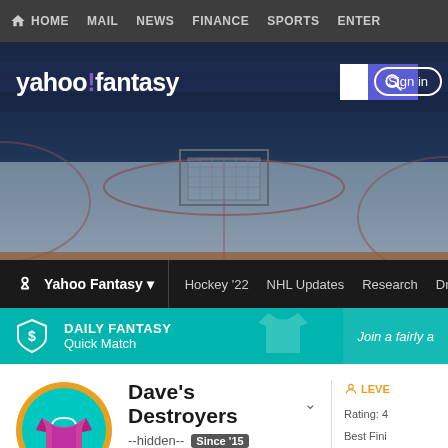HOME   MAIL   NEWS   FINANCE   SPORTS   ENTER
[Figure (screenshot): Yahoo Fantasy Hockey page header with navigation bar, hero image of hockey rink, Yahoo Fantasy logo, search bar, and Sign in button]
Yahoo Fantasy   Hockey '22   NHL Updates   Research   Draft
DAILY FANTASY Quick Match   Join a fairly a
Dave's Destroyers
--hidden--  Since '15
(6TH PLACE)
0-0-0
Rating: 4
Best Fini
Record: 1